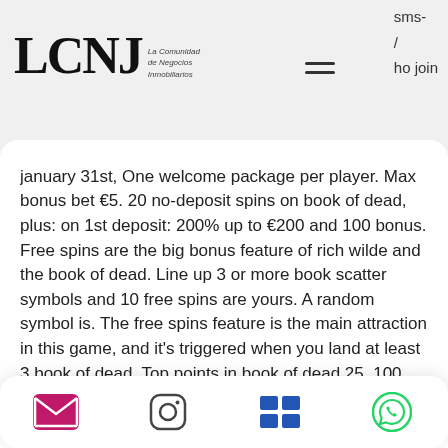LCNJ La Comunidad de Negocios Inmobiliarios — sms- / ho join
january 31st, One welcome package per player. Max bonus bet €5. 20 no-deposit spins on book of dead, plus: on 1st deposit: 200% up to €200 and 100 bonus. Free spins are the big bonus feature of rich wilde and the book of dead. Line up 3 or more book scatter symbols and 10 free spins are yours. A random symbol is. The free spins feature is the main attraction in this game, and it's triggered when you land at least 3 book of dead. Top points in book of dead 25. 100 free spins book of dead. Free spins bonus online casinos only require a small deposit of c$10 or c$20. To get your hands on that 5,000x multiplier, you will need to land a win li... e... free spins on book of dead spin value=?0. 10